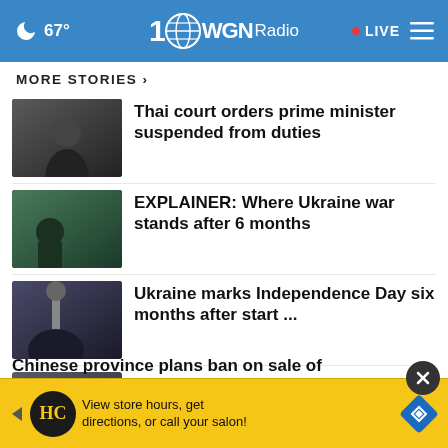67° WGN Radio • LIVE
MORE STORIES >
Thai court orders prime minister suspended from duties
EXPLAINER: Where Ukraine war stands after 6 months
Ukraine marks Independence Day six months after start ...
Rupert Murdoch's son sues Australian website for ...
Asian shares mixed after mod... Wall St... falls
Chinese province plans ban on sale of
[Figure (screenshot): Advertisement banner: View store hours, get directions, or call your salon! with HC logo and navigation diamond icon]